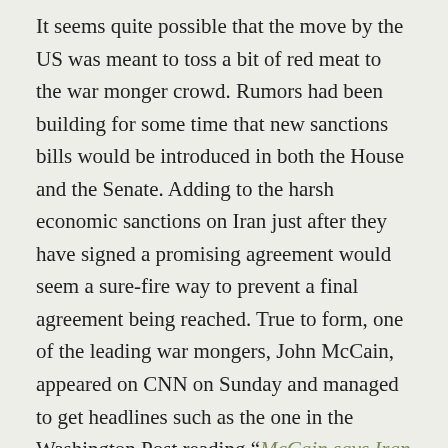It seems quite possible that the move by the US was meant to toss a bit of red meat to the war monger crowd. Rumors had been building for some time that new sanctions bills would be introduced in both the House and the Senate. Adding to the harsh economic sanctions on Iran just after they have signed a promising agreement would seem a sure-fire way to prevent a final agreement being reached. True to form, one of the leading war mongers, John McCain, appeared on CNN on Sunday and managed to get headlines such as the one in the Washington Post reading “McCain says Iran sanctions bill ‘very likely’”.
But, if we look a little closer, we see room for a bit of hope. It turns out that the sanctions bill McCain now advocates would not add new sanctions unless the